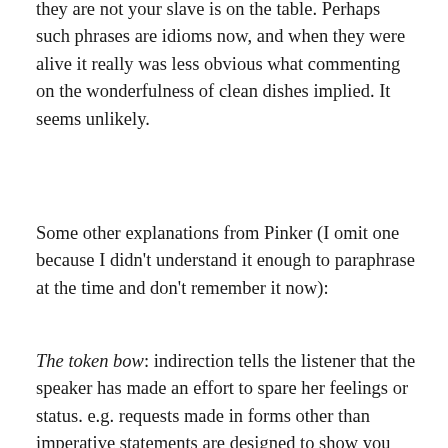they are not your slave is on the table. Perhaps such phrases are idioms now, and when they were alive it really was less obvious what commenting on the wonderfulness of clean dishes implied. It seems unlikely.
Some other explanations from Pinker (I omit one because I didn't understand it enough to paraphrase at the time and don't remember it now):
The token bow: indirection tells the listener that the speaker has made an effort to spare her feelings or status. e.g. requests made in forms other than imperative statements are designed to show you don't presume you may command the person. I'm not sure how this would explain the coffee offer above. Perhaps in the existing relationship asking for sex would be disrespectful, so the suggestion to continue the gradual shift into one anothers' pants is couched as something respectful in the current